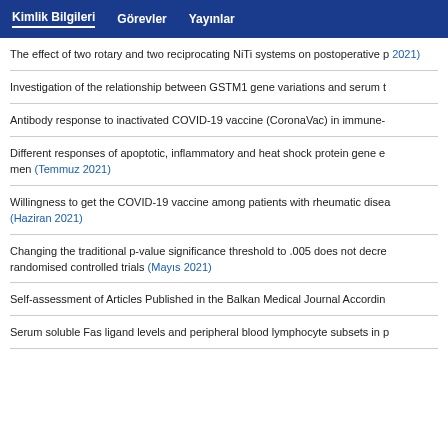Kimlik Bilgileri   Görevler   Yayınlar
The effect of two rotary and two reciprocating NiTi systems on postoperative p... 2021)
Investigation of the relationship between GSTM1 gene variations and serum t...
Antibody response to inactivated COVID-19 vaccine (CoronaVac) in immune-...
Different responses of apoptotic, inflammatory and heat shock protein gene e... men (Temmuz 2021)
Willingness to get the COVID-19 vaccine among patients with rheumatic disea... (Haziran 2021)
Changing the traditional p-value significance threshold to .005 does not decre... randomised controlled trials (Mayıs 2021)
Self-assessment of Articles Published in the Balkan Medical Journal Accordin...
Serum soluble Fas ligand levels and peripheral blood lymphocyte subsets in p...